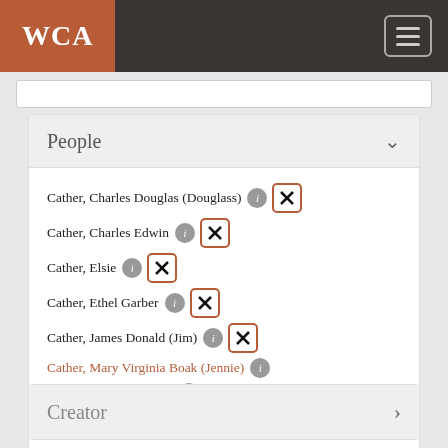WCA
People
Cather, Charles Douglas (Douglass)
Cather, Charles Edwin
Cather, Elsie
Cather, Ethel Garber
Cather, James Donald (Jim)
Cather, Mary Virginia Boak (Jennie)
Pavelka, Annie Sadilek
Southwick, Helen Louise Cather
Creator